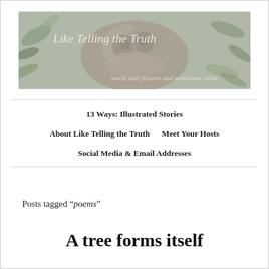[Figure (photo): Banner image for 'Like Telling the Truth' blog. Shows a mossy stone sculpture among foliage in black and white/sepia tone. Text overlay reads 'Like Telling the Truth' and 'words and pictures and sometimes music'.]
13 Ways: Illustrated Stories
About Like Telling the Truth    Meet Your Hosts
Social Media & Email Addresses
Posts tagged “poems”
A tree forms itself